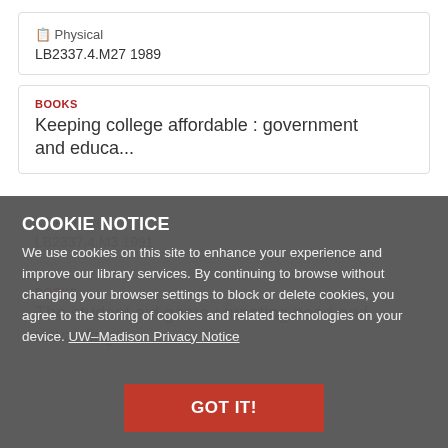Physical
LB2337.4.M27 1989
BOOKS
Keeping college affordable : government and educa...
COOKIE NOTICE
We use cookies on this site to enhance your experience and improve our library services. By continuing to browse without changing your browser settings to block or delete cookies, you agree to the storing of cookies and related technologies on your device. UW–Madison Privacy Notice
GOT IT!
Physical
LB2337.4.M3 1991
BOOKS
The student aid game : meeting need and rewarding...